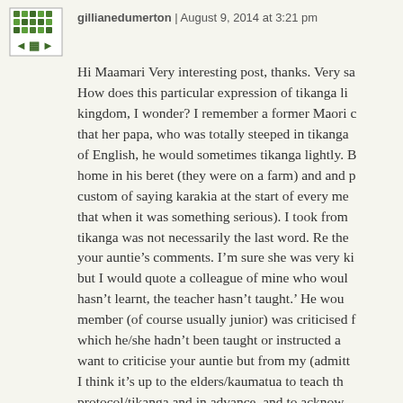gillianedumerton | August 9, 2014 at 3:21 pm
Hi Maamari Very interesting post, thanks. Very sa... How does this particular expression of tikanga li... kingdom, I wonder? I remember a former Maori c... that her papa, who was totally steeped in tikanga of English, he would sometimes tikanga lightly. B... home in his beret (they were on a farm) and and p... custom of saying karakia at the start of every me... that when it was something serious). I took from... tikanga was not necessarily the last word. Re the... your auntie's comments. I'm sure she was very ki... but I would quote a colleague of mine who woul... hasn't learnt, the teacher hasn't taught.' He wou... member (of course usually junior) was criticised f... which he/she hadn't been taught or instructed a... want to criticise your auntie but from my (admitt... I think it's up to the elders/kaumatua to teach th... protocol/tikanga and in advance, and to acknow... do so when tikanga isn't followed. This is all the m... young people like you are urban-based. Anyway b... you write the most interesting and thought prov...